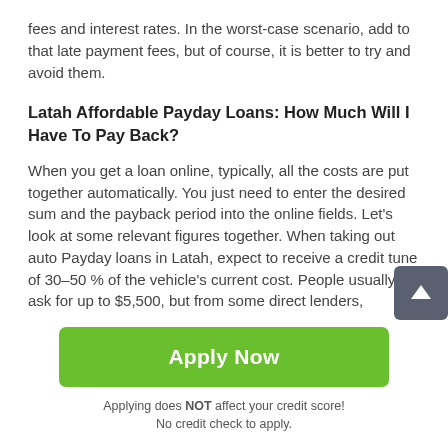fees and interest rates. In the worst-case scenario, add to that late payment fees, but of course, it is better to try and avoid them.
Latah Affordable Payday Loans: How Much Will I Have To Pay Back?
When you get a loan online, typically, all the costs are put together automatically. You just need to enter the desired sum and the payback period into the online fields. Let's look at some relevant figures together. When taking out auto Payday loans in Latah, expect to receive a credit tune of 30–50 % of the vehicle's current cost. People usually ask for up to $5,500, but from some direct lenders,
[Figure (other): Scroll-to-top button: dark gray rounded square with white upward arrow]
Apply Now
Applying does NOT affect your credit score!
No credit check to apply.